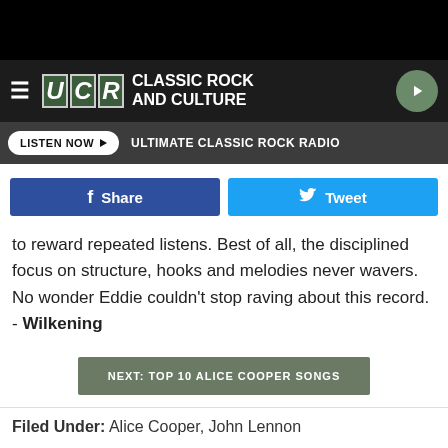UCR CLASSIC ROCK AND CULTURE
LISTEN NOW ▶  ULTIMATE CLASSIC ROCK RADIO
[Figure (other): Facebook Share button and Twitter Tweet button]
to reward repeated listens. Best of all, the disciplined focus on structure, hooks and melodies never wavers. No wonder Eddie couldn't stop raving about this record. - Wilkening
NEXT: TOP 10 ALICE COOPER SONGS
Filed Under: Alice Cooper, John Lennon
Catego